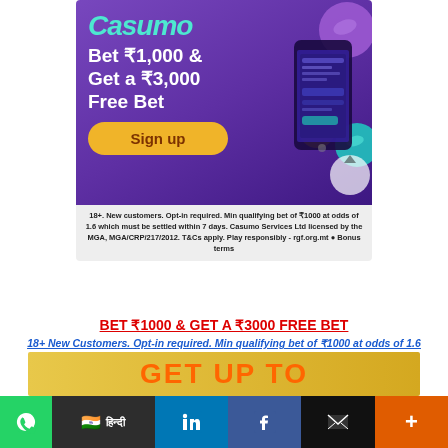[Figure (illustration): Casumo betting promotion banner. Purple gradient background with Casumo logo (teal italic text), headline 'Bet ₹1,000 & Get a ₹3,000 Free Bet', yellow 'Sign up' button, decorative sports balls and phone mockup. Disclaimer text at bottom of banner.]
BET ₹1000 & GET A ₹3000 FREE BET
18+ New Customers. Opt-in required. Min qualifying bet of ₹1000 at odds of 1.6 which must be settled within 7 days. T+Cs apply. Play responsibly - rgf.org.mt
[Figure (illustration): Partially visible yellow banner with orange text 'GET UP TO']
[Figure (screenshot): Social sharing bar at bottom: WhatsApp (green), India flag with Hindi text (dark), LinkedIn (blue), Facebook (dark blue), Email (black), More/plus (orange)]